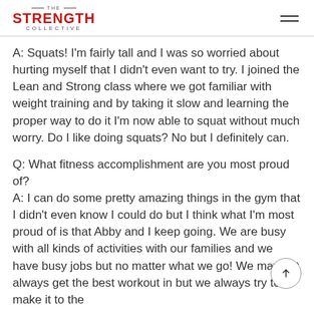THE STRENGTH COLLECTIVE
A: Squats! I'm fairly tall and I was so worried about hurting myself that I didn't even want to try. I joined the Lean and Strong class where we got familiar with weight training and by taking it slow and learning the proper way to do it I'm now able to squat without much worry. Do I like doing squats? No but I definitely can.
Q: What fitness accomplishment are you most proud of?
A: I can do some pretty amazing things in the gym that I didn't even know I could do but I think what I'm most proud of is that Abby and I keep going. We are busy with all kinds of activities with our families and we have busy jobs but no matter what we go! We may not always get the best workout in but we always try to make it to the